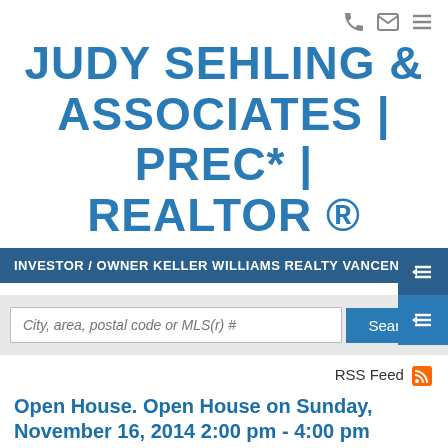[Figure (other): Top navigation icons: phone, email, hamburger menu]
JUDY SEHLING & ASSOCIATES | PREC* | REALTOR ®
INVESTOR / OWNER KELLER WILLIAMS REALTY VANCENTRAL
[Figure (other): Search bar with placeholder 'City, area, postal code or MLS(r) #' and a blue Search button]
RSS Feed
Open House. Open House on Sunday, November 16, 2014 2:00 pm - 4:00 pm
Posted on November 15, 2014 by Judy Sehling